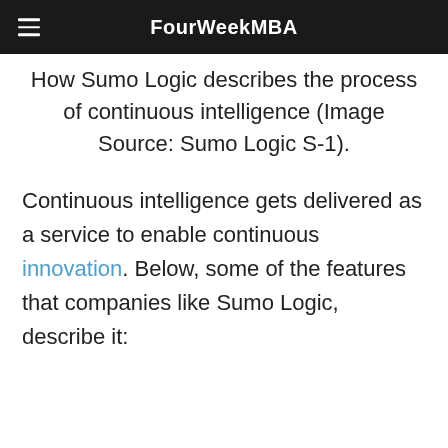FourWeekMBA
How Sumo Logic describes the process of continuous intelligence (Image Source: Sumo Logic S-1).
Continuous intelligence gets delivered as a service to enable continuous innovation. Below, some of the features that companies like Sumo Logic, describe it: